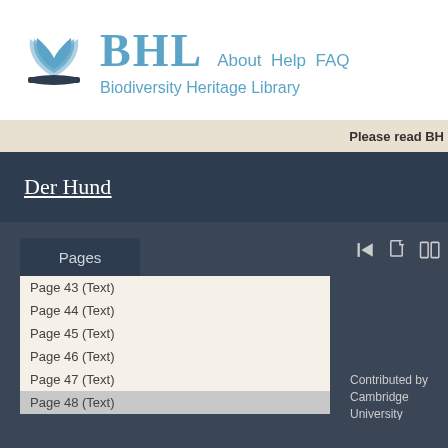[Figure (logo): BHL Biodiversity Heritage Library logo with open book icon and text 'BHL About Help FAQ' and subtitle 'Biodiversity Heritage Library']
Please read BH
Der Hund
Pages
Page 43 (Text)
Page 44 (Text)
Page 45 (Text)
Page 46 (Text)
Page 47 (Text)
Page 48 (Text)
URL for Current Page
https://www.biodiversitylibrary.org/page/33902110
Contributed by
Cambridge University
Library